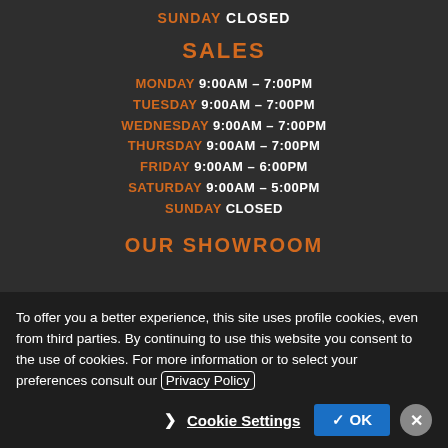SUNDAY CLOSED
SALES
MONDAY 9:00AM – 7:00PM
TUESDAY 9:00AM – 7:00PM
WEDNESDAY 9:00AM – 7:00PM
THURSDAY 9:00AM – 7:00PM
FRIDAY 9:00AM – 6:00PM
SATURDAY 9:00AM – 5:00PM
SUNDAY CLOSED
OUR SHOWROOM
To offer you a better experience, this site uses profile cookies, even from third parties. By continuing to use this website you consent to the use of cookies. For more information or to select your preferences consult our Privacy Policy